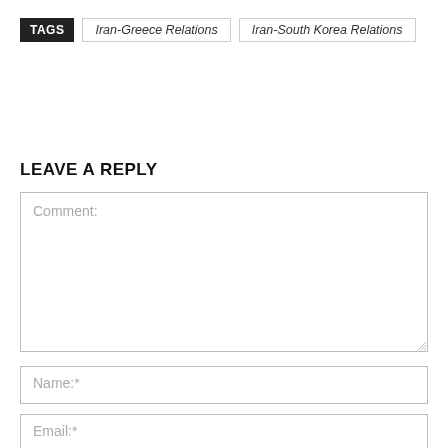TAGS   Iran-Greece Relations   Iran-South Korea Relations
LEAVE A REPLY
Comment:
Name:*
Email:*